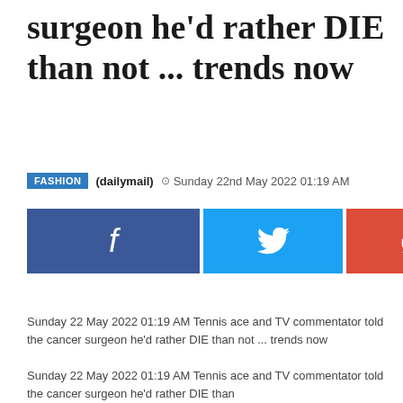surgeon he'd rather DIE than not ... trends now
FASHION (dailymail) © Sunday 22nd May 2022 01:19 AM
[Figure (infographic): Social media share buttons: Facebook (blue), Twitter (cyan), Google+ (red-orange), Pinterest (red)]
Sunday 22 May 2022 01:19 AM Tennis ace and TV commentator told the cancer surgeon he'd rather DIE than not ... trends now
Sunday 22 May 2022 01:19 AM Tennis ace and TV commentator told the cancer surgeon he'd rather DIE than